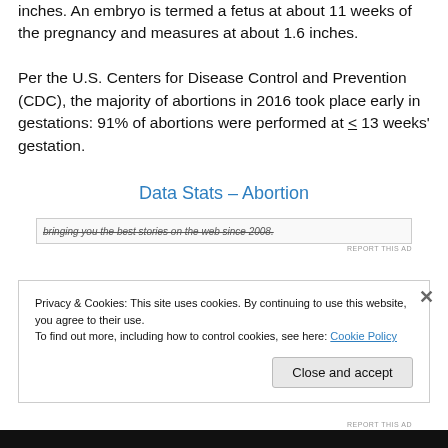inches. An embryo is termed a fetus at about 11 weeks of the pregnancy and measures at about 1.6 inches.
Per the U.S. Centers for Disease Control and Prevention (CDC), the majority of abortions in 2016 took place early in gestations: 91% of abortions were performed at < 13 weeks' gestation.
Data Stats – Abortion
[Figure (other): Ad strip showing partially visible text: 'bringing you the best stories on the web since 2008.' with REPORT THIS AD label]
Privacy & Cookies: This site uses cookies. By continuing to use this website, you agree to their use.
To find out more, including how to control cookies, see here: Cookie Policy